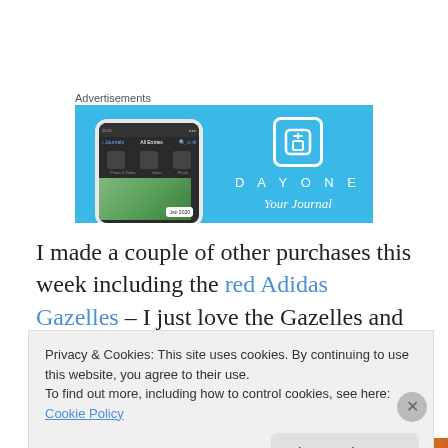Advertisements
[Figure (screenshot): Advertisement banner for DayOne journal app on a blue background, showing a smartphone displaying the app interface on the left, and the DayOne logo with 'Your Journal' text on the right.]
I made a couple of other purchases this week including the red Adidas Gazelles – I just love the Gazelles and they
Privacy & Cookies: This site uses cookies. By continuing to use this website, you agree to their use.
To find out more, including how to control cookies, see here: Cookie Policy